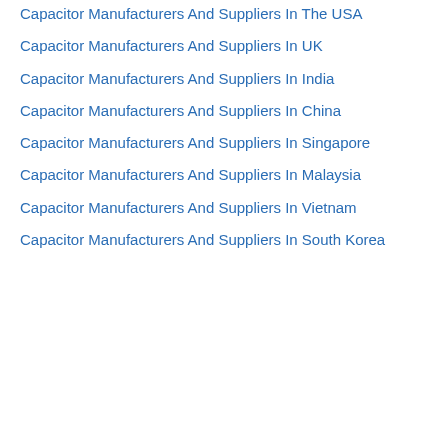Capacitor Manufacturers And Suppliers In The USA
Capacitor Manufacturers And Suppliers In UK
Capacitor Manufacturers And Suppliers In India
Capacitor Manufacturers And Suppliers In China
Capacitor Manufacturers And Suppliers In Singapore
Capacitor Manufacturers And Suppliers In Malaysia
Capacitor Manufacturers And Suppliers In Vietnam
Capacitor Manufacturers And Suppliers In South Korea